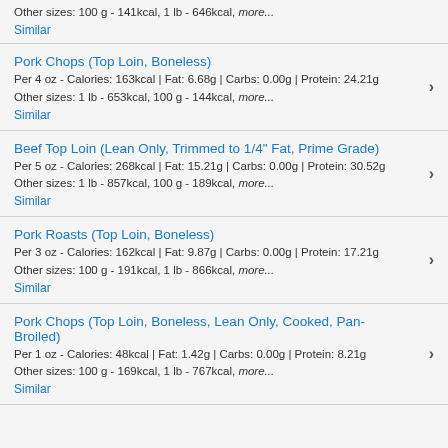Other sizes: 100 g - 141kcal, 1 lb - 646kcal, more...
Similar
Pork Chops (Top Loin, Boneless)
Per 4 oz - Calories: 163kcal | Fat: 6.68g | Carbs: 0.00g | Protein: 24.21g
Other sizes: 1 lb - 653kcal, 100 g - 144kcal, more...
Similar
Beef Top Loin (Lean Only, Trimmed to 1/4" Fat, Prime Grade)
Per 5 oz - Calories: 268kcal | Fat: 15.21g | Carbs: 0.00g | Protein: 30.52g
Other sizes: 1 lb - 857kcal, 100 g - 189kcal, more...
Similar
Pork Roasts (Top Loin, Boneless)
Per 3 oz - Calories: 162kcal | Fat: 9.87g | Carbs: 0.00g | Protein: 17.21g
Other sizes: 100 g - 191kcal, 1 lb - 866kcal, more...
Similar
Pork Chops (Top Loin, Boneless, Lean Only, Cooked, Pan-Broiled)
Per 1 oz - Calories: 48kcal | Fat: 1.42g | Carbs: 0.00g | Protein: 8.21g
Other sizes: 100 g - 169kcal, 1 lb - 767kcal, more...
Similar